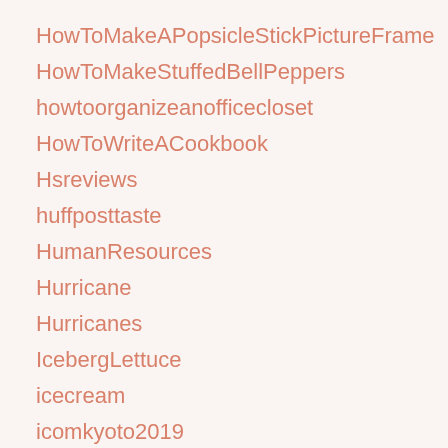HowToMakeAPopsicleStickPictureFrame
HowToMakeStuffedBellPeppers
howtoorganizeanofficecloset
HowToWriteACookbook
Hsreviews
huffposttaste
HumanResources
Hurricane
Hurricanes
IcebergLettuce
icecream
icomkyoto2019
idea
ideas